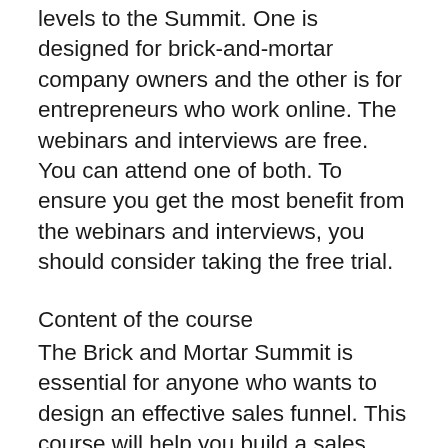levels to the Summit. One is designed for brick-and-mortar company owners and the other is for entrepreneurs who work online. The webinars and interviews are free. You can attend one of both. To ensure you get the most benefit from the webinars and interviews, you should consider taking the free trial.
Content of the course
The Brick and Mortar Summit is essential for anyone who wants to design an effective sales funnel. This course will help you build a sales funnel and attract the right clients. This course will show you how to draw 100 customers in just 30 days. These are crucial steps in creating a successful business. To get the most value from your funnel, you will